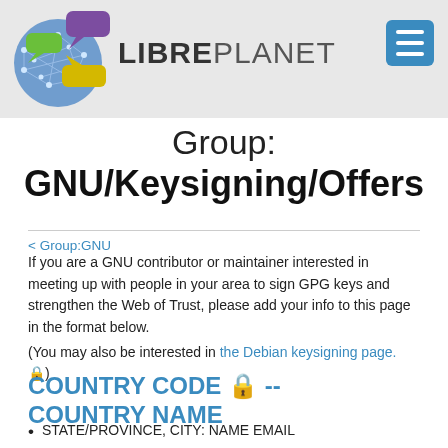LIBREPLANET
Group: GNU/Keysigning/Offers
< Group:GNU
If you are a GNU contributor or maintainer interested in meeting up with people in your area to sign GPG keys and strengthen the Web of Trust, please add your info to this page in the format below.
(You may also be interested in the Debian keysigning page. 🔒)
COUNTRY CODE 🔒 -- COUNTRY NAME
STATE/PROVINCE, CITY: NAME EMAIL